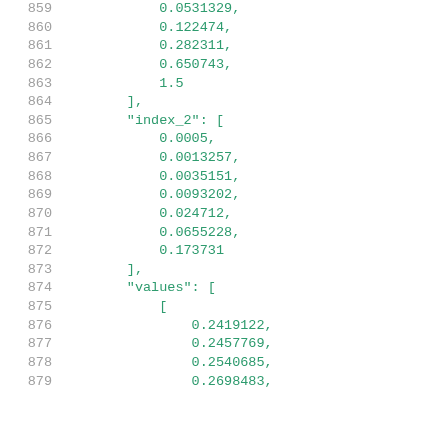859    0.0531329,
860    0.122474,
861    0.282311,
862    0.650743,
863    1.5
864  ],
865  "index_2": [
866    0.0005,
867    0.0013257,
868    0.0035151,
869    0.0093202,
870    0.024712,
871    0.0655228,
872    0.173731
873  ],
874  "values": [
875    [
876      0.2419122,
877      0.2457769,
878      0.2540685,
879      0.2698483,